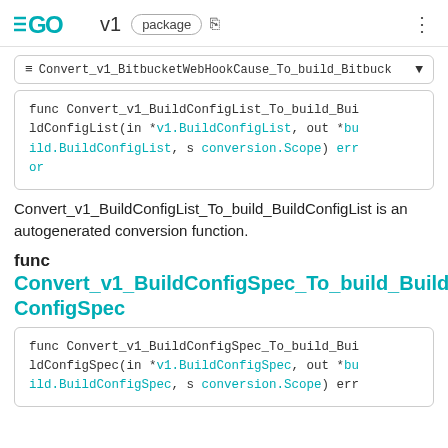GO v1 package
≡ Convert_v1_BitbucketWebHookCause_To_build_Bitbuck▾
func Convert_v1_BuildConfigList_To_build_BuildConfigList(in *v1.BuildConfigList, out *build.BuildConfigList, s conversion.Scope) error
Convert_v1_BuildConfigList_To_build_BuildConfigList is an autogenerated conversion function.
func Convert_v1_BuildConfigSpec_To_build_BuildConfigSpec
func Convert_v1_BuildConfigSpec_To_build_BuildConfigSpec(in *v1.BuildConfigSpec, out *build.BuildConfigSpec, s conversion.Scope) err